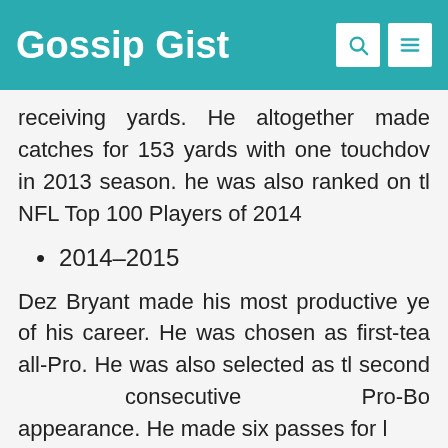Gossip Gist
receiving yards. He altogether made catches for 153 yards with one touchdown in 2013 season. he was also ranked on the NFL Top 100 Players of 2014
2014-2015
Dez Bryant made his most productive year of his career. He was chosen as first-team all-Pro. He was also selected as the second consecutive Pro-Bowl appearance. He made six passes for l